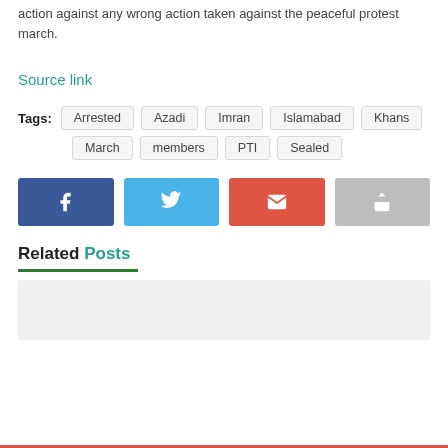action against any wrong action taken against the peaceful protest march.
Source link
Tags: Arrested, Azadi, Imran, Islamabad, Khans, March, members, PTI, Sealed
[Figure (infographic): Social sharing buttons: Facebook (blue), Twitter (light blue), Email (red), Share (grey)]
Related Posts
[Figure (photo): Placeholder image box for related post]